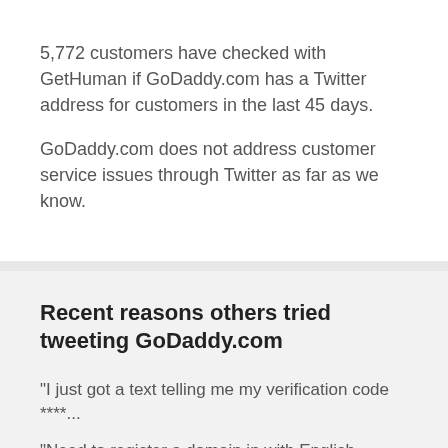5,772 customers have checked with GetHuman if GoDaddy.com has a Twitter address for customers in the last 45 days.
GoDaddy.com does not address customer service issues through Twitter as far as we know.
Recent reasons others tried tweeting GoDaddy.com
"I just got a text telling me my verification code ****...
"Need to register a domain in with English instructio...